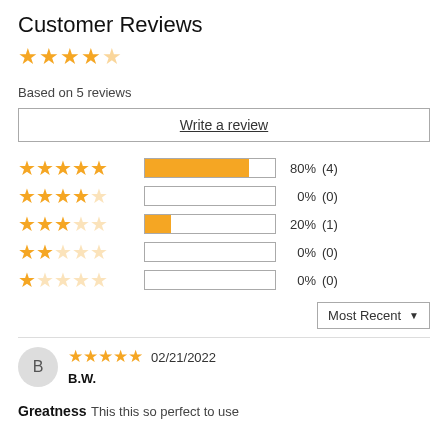Customer Reviews
[Figure (other): 4.5 out of 5 stars overall rating displayed as star icons]
Based on 5 reviews
Write a review
[Figure (bar-chart): Star rating distribution]
Most Recent
[Figure (other): 5 out of 5 stars for review by B.W.]
02/21/2022
B.W.
Greatness
This this so perfect to use